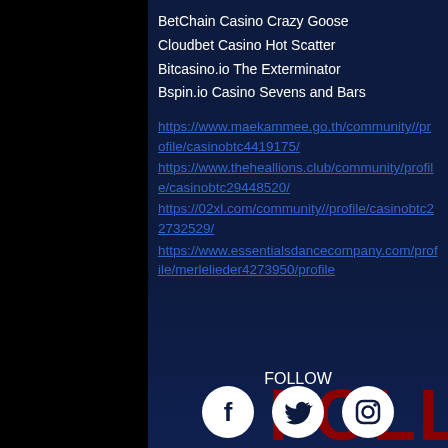BetChain Casino Crazy Goose
Cloudbet Casino Hot Scatter
Bitcasino.io The Exterminator
Bspin.io Casino Sevens and Bars
https://www.maekammee.go.th/community//profile/casinobtc4419175/
https://www.theheallions.club/community/profile/casinobtc29448520/
https://02xl.com/community//profile/casinobtc22732529/
https://www.essentialsdancecompany.com/profile/merlelieder4273950/profile
[Figure (illustration): FOLLOW text in bold white letters with dark red shadow, social media follow section with Facebook, Twitter, and Instagram icons below]